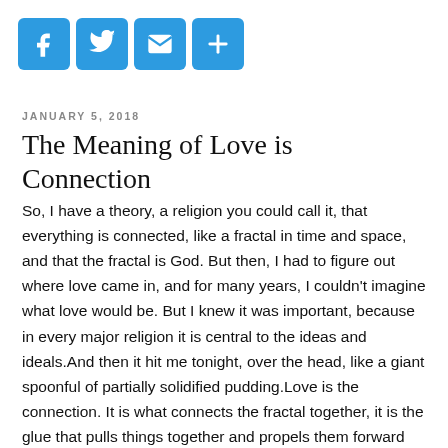[Figure (other): Social sharing icons row: Facebook (f), Twitter (bird), Email (envelope), Share (plus sign), all on blue rounded square backgrounds]
JANUARY 5, 2018
The Meaning of Love is Connection
So, I have a theory, a religion you could call it, that everything is connected, like a fractal in time and space, and that the fractal is God. But then, I had to figure out where love came in, and for many years, I couldn't imagine what love would be. But I knew it was important, because in every major religion it is central to the ideas and ideals.And then it hit me tonight, over the head, like a giant spoonful of partially solidified pudding.Love is the connection. It is what connects the fractal together, it is the glue that pulls things together and propels them forward into space-time. It is what makes babies. It is love at first sight. It is true understanding. It is feeling